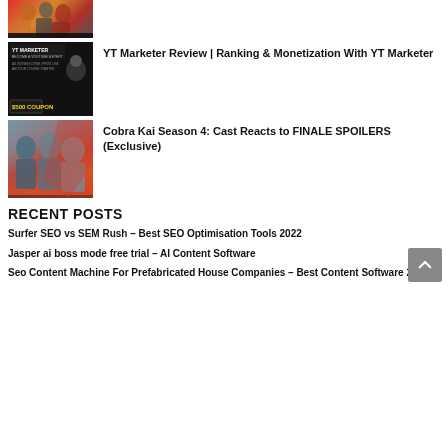[Figure (photo): Thumbnail of people in colorful traditional clothing]
[Figure (screenshot): YT Marketer promotional thumbnail with $500 coupon text]
YT Marketer Review | Ranking & Monetization With YT Marketer
[Figure (photo): Cobra Kai Season 4 cast photo thumbnail]
Cobra Kai Season 4: Cast Reacts to FINALE SPOILERS (Exclusive)
RECENT POSTS
Surfer SEO vs SEM Rush – Best SEO Optimisation Tools 2022
Jasper ai boss mode free trial – AI Content Software
Seo Content Machine For Prefabricated House Companies – Best Content Software 2022